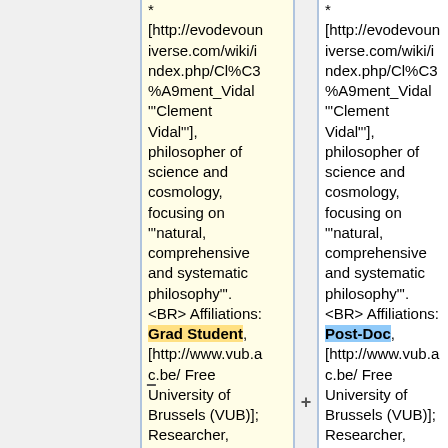* [http://evodevouniverse.com/wiki/index.php/Cl%C3%A9ment_Vidal "'Clement Vidal'"], philosopher of science and cosmology, focusing on "'natural, comprehensive and systematic philosophy'". <BR> Affiliations: Grad Student, [http://www.vub.ac.be/ Free University of Brussels (VUB)]; Researcher, [http://www.vub.a
* [http://evodevouniverse.com/wiki/index.php/Cl%C3%A9ment_Vidal "'Clement Vidal'"], philosopher of science and cosmology, focusing on "'natural, comprehensive and systematic philosophy'". <BR> Affiliations: Post-Doc, [http://www.vub.ac.be/ Free University of Brussels (VUB)]; Researcher, [http://www.vub.a